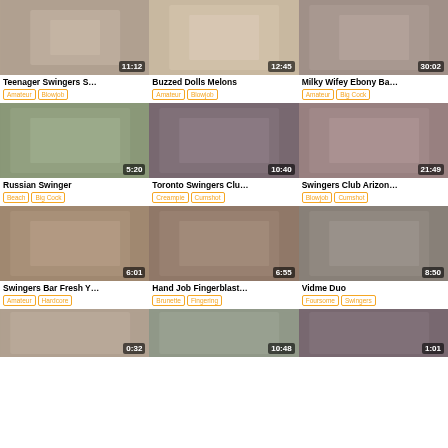[Figure (screenshot): Video thumbnail grid showing adult content video listings with titles, durations, and category tags]
Teenager Swingers S... 11:12 | Amateur, Blowjob
Buzzed Dolls Melons 12:45 | Amateur, Blowjob
Milky Wifey Ebony Ba... 30:02 | Amateur, Big Cock
Russian Swinger 5:20 | Beach, Big Cock
Toronto Swingers Clu... 10:40 | Creampie, Cumshot
Swingers Club Arizon... 21:49 | Blowjob, Cumshot
Swingers Bar Fresh Y... 6:01 | Amateur, Hardcore
Hand Job Fingerblast... 6:55 | Brunette, Fingering
Vidme Duo 8:50 | Foursome, Swingers